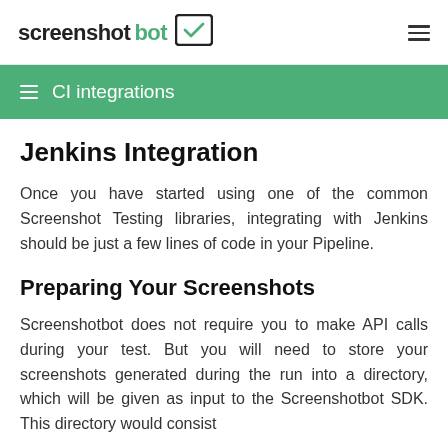screenshotbot
CI integrations
Jenkins Integration
Once you have started using one of the common Screenshot Testing libraries, integrating with Jenkins should be just a few lines of code in your Pipeline.
Preparing Your Screenshots
Screenshotbot does not require you to make API calls during your test. But you will need to store your screenshots generated during the run into a directory, which will be given as input to the Screenshotbot SDK. This directory would consist